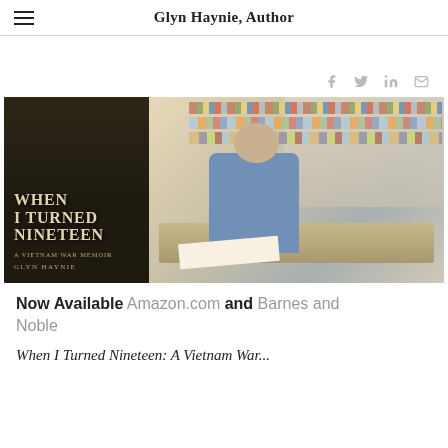Glyn Haynie, Author
[Figure (photo): Left half: book cover of 'When I Turned Nineteen: A Vietnam War Memoir' by Glyn Haynie, dark background with soldier silhouette. Right half: photo of an older man with gray hair and glasses, wearing a blue sweater, signing a book at a table in what appears to be a library.]
Now Available Amazon.com and Barnes and Noble
When I Turned Nineteen: A Vietnam War...